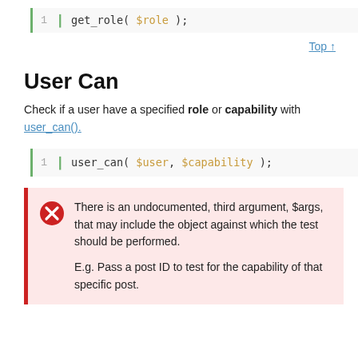get_role( $role );
Top ↑
User Can
Check if a user have a specified role or capability with user_can().
user_can( $user, $capability );
There is an undocumented, third argument, $args, that may include the object against which the test should be performed.

E.g. Pass a post ID to test for the capability of that specific post.